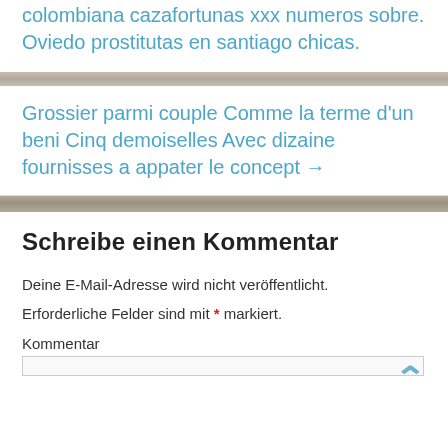colombiana cazafortunas xxx numeros sobre. Oviedo prostitutas en santiago chicas.
Grossier parmi couple Comme la terme d'un beni Cinq demoiselles Avec dizaine fournisses a appater le concept →
Schreibe einen Kommentar
Deine E-Mail-Adresse wird nicht veröffentlicht.
Erforderliche Felder sind mit * markiert.
Kommentar